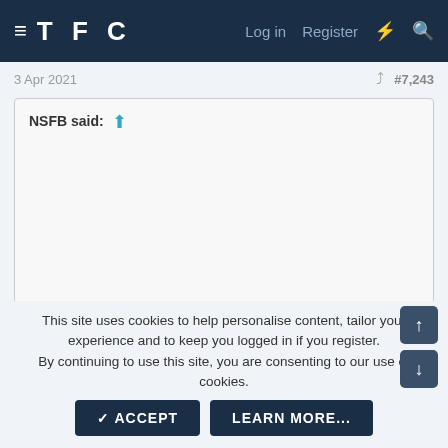TFC  Log in  Register
3 Apr 2021  #7,243
NSFB said: ↑

Click to expand...
Hahahaha. that is fucking brutal.
This site uses cookies to help personalise content, tailor your experience and to keep you logged in if you register.
By continuing to use this site, you are consenting to our use of cookies.
✓ ACCEPT  LEARN MORE...